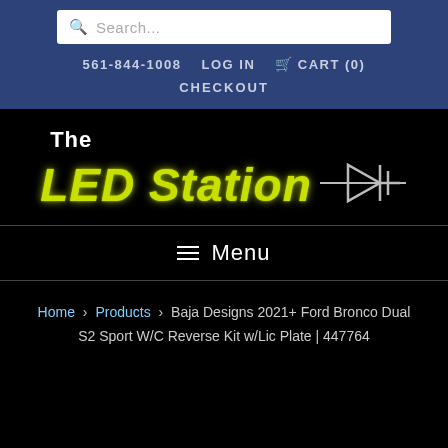Search...
561-844-1008  LOG IN  CART (0)  CHECKOUT
[Figure (logo): The LED Station logo with yellow-green italic text and LED diode symbol on black background]
Menu
Home > Products > Baja Designs 2021+ Ford Bronco Dual S2 Sport W/C Reverse Kit w/Lic Plate | 447764